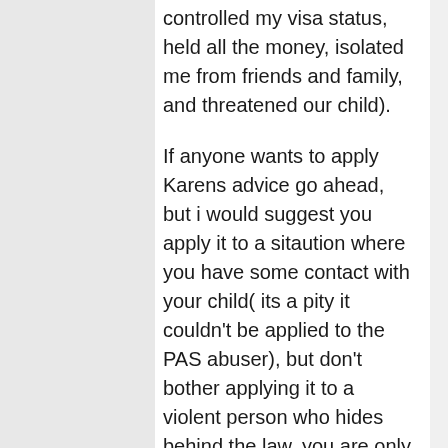controlled my visa status, held all the money, isolated me from friends and family, and threatened our child).
If anyone wants to apply Karens advice go ahead, but i would suggest you apply it to a sitaution where you have some contact with your child( its a pity it couldn't be applied to the PAS abuser), but don't bother applying it to a violent person who hides behind the law, you are only enabling them to continue the abusive behaviour and that makes you as bad as all the